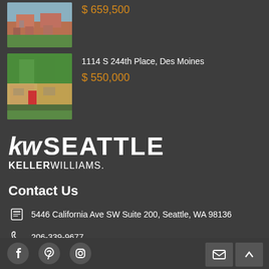$ 659,500
[Figure (photo): House photo - first listing]
1114 S 244th Place, Des Moines
$ 550,000
[Figure (photo): House photo - second listing, single story with red door]
[Figure (logo): KW Seattle Keller Williams logo]
Contact Us
5446 California Ave SW Suite 200, Seattle, WA 98136
206-339-9677
info@realestategals.com
[Figure (infographic): Footer with social media icons (Facebook, Pinterest, Instagram) and action buttons (email, scroll to top)]